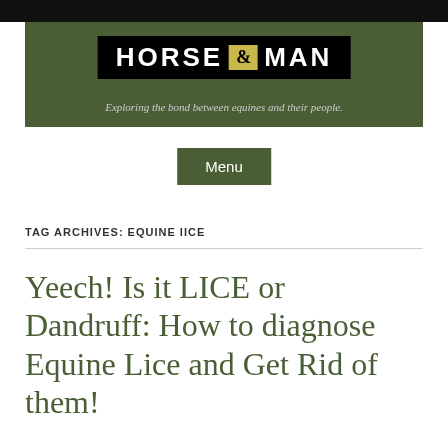[Figure (logo): Horse & Man blog logo with green banner and tagline 'Exploring the bond between equines and their people.']
Menu
TAG ARCHIVES: EQUINE IICE
Yeech! Is it LICE or Dandruff: How to diagnose Equine Lice and Get Rid of them!